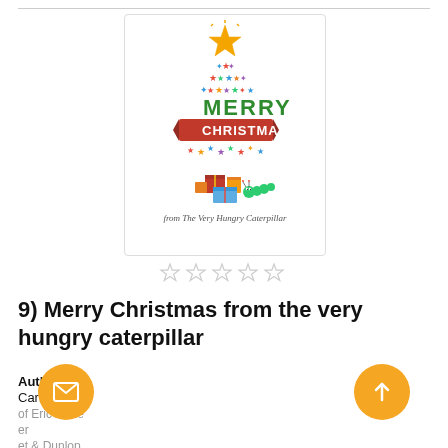[Figure (illustration): Book cover for 'Merry Christmas from the Very Hungry Caterpillar' showing a Christmas tree made of colorful stars with 'MERRY CHRISTMAS' text on a red banner, wrapped presents and a caterpillar at the base, and text 'from The Very Hungry Caterpillar' at the bottom.]
[Figure (other): Five empty outline star rating icons in a row]
9) Merry Christmas from the very hungry caterpillar
Author
Carle, Eric
of Eric Carle
er
et & Dunlop
Pub. Date